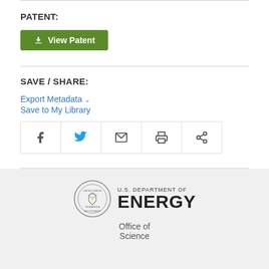PATENT:
[Figure (other): Green 'View Patent' download button]
SAVE / SHARE:
Export Metadata
Save to My Library
[Figure (other): Social sharing icon bar with Facebook, Twitter, email, print, and share icons]
[Figure (logo): U.S. Department of Energy Office of Science logo with seal]